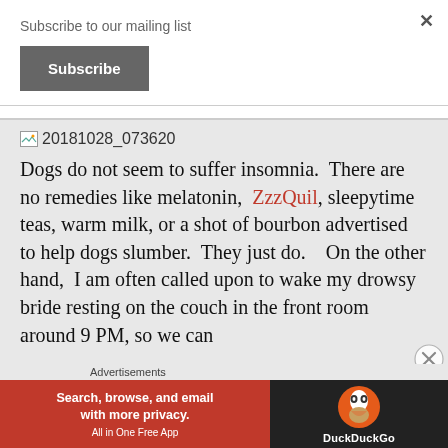Subscribe to our mailing list
Subscribe
[Figure (screenshot): Broken image icon followed by filename '20181028_073620']
Dogs do not seem to suffer insomnia.  There are no remedies like melatonin,  ZzzQuil, sleepytime teas, warm milk, or a shot of bourbon advertised to help dogs slumber.  They just do.   On the other hand,  I am often called upon to wake my drowsy bride resting on the couch in the front room around 9 PM, so we can
Advertisements
[Figure (screenshot): DuckDuckGo advertisement banner: 'Search, browse, and email with more privacy. All in One Free App' on red background, with DuckDuckGo logo on dark background]